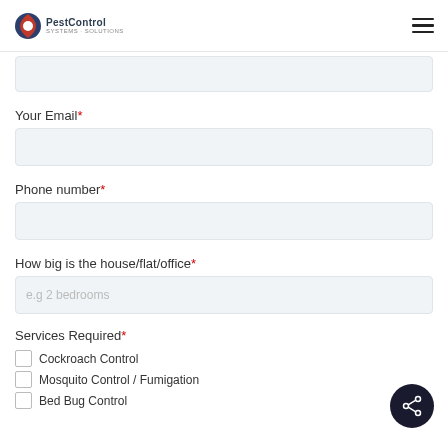PestControl
Your Email*
Phone number*
How big is the house/flat/office*
Services Required*
Cockroach Control
Mosquito Control / Fumigation
Bed Bug Control